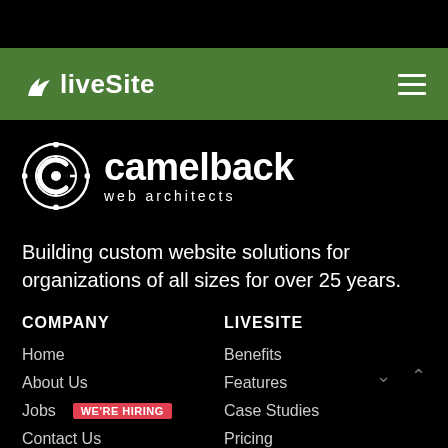WliveSite [hamburger menu]
[Figure (logo): Camelback Web Architects logo: gear-like circular icon with letter C, next to text 'camelback web architects']
Building custom website solutions for organizations of all sizes for over 25 years.
COMPANY
LIVESITE
Home
Benefits
About Us
Features
Jobs  WE'RE HIRING
Case Studies
Contact Us
Pricing
Mailing List
Support